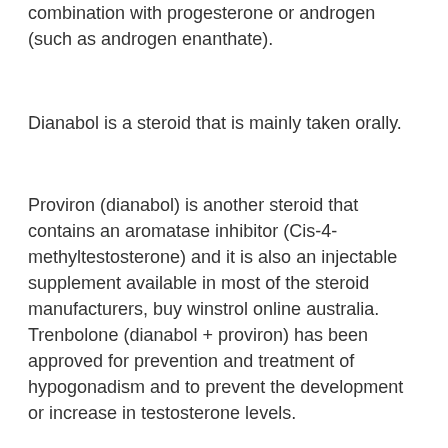combination with progesterone or androgen (such as androgen enanthate).
Dianabol is a steroid that is mainly taken orally.
Proviron (dianabol) is another steroid that contains an aromatase inhibitor (Cis-4-methyltestosterone) and it is also an injectable supplement available in most of the steroid manufacturers, buy winstrol online australia.
Trenbolone (dianabol + proviron) has been approved for prevention and treatment of hypogonadism and to prevent the development or increase in testosterone levels.
T-A-C (trenbolone) has been approved for the treatment of hypogonadism, buy winstrol steroids online uk.